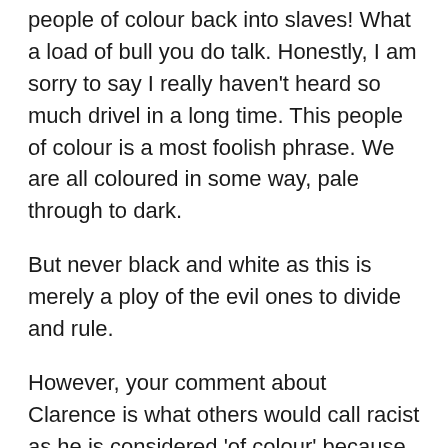people of colour back into slaves!  What a load of bull you do talk. Honestly, I am sorry to say I really haven't heard so much drivel in a long time. This people of colour is a most foolish phrase. We are all coloured in some way, pale through to dark.

But never black and white as this is merely a ploy of the evil ones to divide and rule.

However, your comment about Clarence is what others would call racist as he is considered 'of colour' because of his dark skin, although that again is a silly notion as we are all of one race the human race. But you are suggesting he is trying to make himself a slave!

There you have it. I advise getting your house in order, avoid the toxic big pharma drugs of all types,